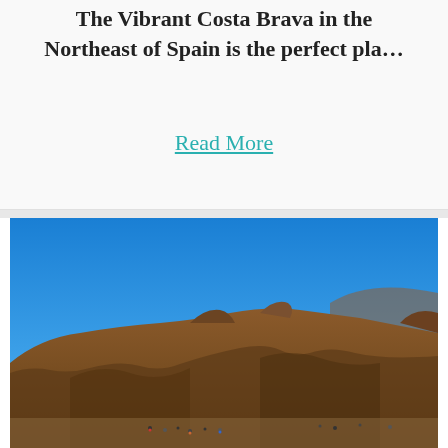The Vibrant Costa Brava in the Northeast of Spain is the perfect pla…
Read More
[Figure (photo): Photo of a rocky hillside with brown/orange terrain under a clear blue sky, with small figures of people visible at the bottom of the hill.]